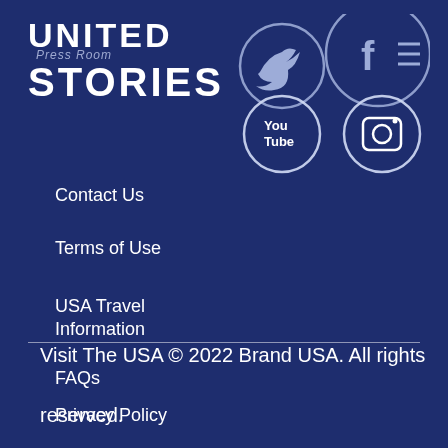UNITED STORIES
Press Room
[Figure (illustration): Social media icons: Twitter, Facebook, YouTube, Instagram — white circle outlines on dark blue background]
Contact Us
Terms of Use
USA Travel Information
FAQs
Privacy Policy
Visit The USA © 2022 Brand USA. All rights reserved.